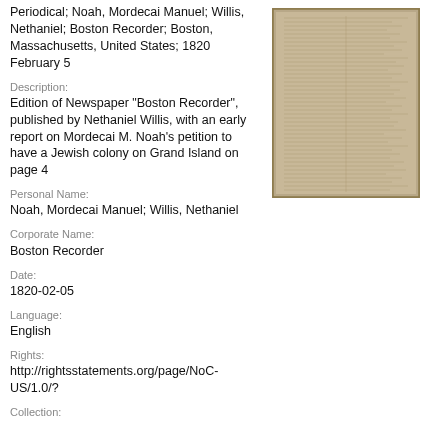Periodical; Noah, Mordecai Manuel; Willis, Nethaniel; Boston Recorder; Boston, Massachusetts, United States; 1820 February 5
Description:
Edition of Newspaper "Boston Recorder", published by Nethaniel Willis, with an early report on Mordecai M. Noah's petition to have a Jewish colony on Grand Island on page 4
Personal Name:
Noah, Mordecai Manuel; Willis, Nethaniel
Corporate Name:
Boston Recorder
Date:
1820-02-05
Language:
English
Rights:
http://rightsstatements.org/page/NoC-US/1.0/?
Collection:
[Figure (photo): Photograph of a yellowed/aged newspaper page, showing columns of old printed text on aged paper with a brownish-tan color]